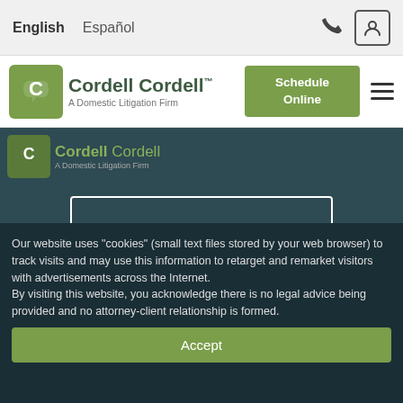English  Español
[Figure (logo): Cordell Cordell logo with speech bubble icon and tagline 'A Domestic Litigation Firm']
Schedule Online
[Figure (logo): Cordell Cordell logo repeated on dark background]
Contact Us
Cordell & Cordell
Home
Our website uses "cookies" (small text files stored by your web browser) to track visits and may use this information to retarget and remarket visitors with advertisements across the Internet.
By visiting this website, you acknowledge there is no legal advice being provided and no attorney-client relationship is formed.
Accept